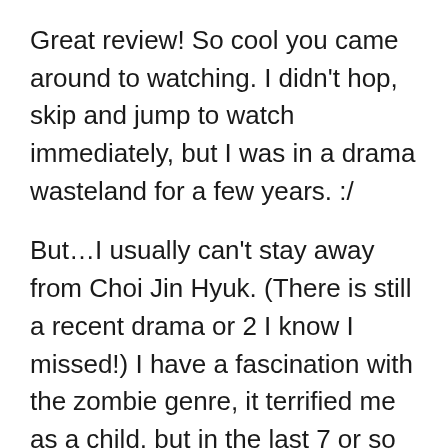Great review! So cool you came around to watching. I didn't hop, skip and jump to watch immediately, but I was in a drama wasteland for a few years. :/
But…I usually can't stay away from Choi Jin Hyuk. (There is still a recent drama or 2 I know I missed!) I have a fascination with the zombie genre, it terrified me as a child, but in the last 7 or so years, I have consumed far more of them than I should have. (pun intended.) When done right, with equal parts frights, intelligence, pathos, and humor, you can have an amazing film, and I have seen some from across the globe and even short films on Youtube with different creative concepts.
The Zombie Detective had all of that for me. I fell